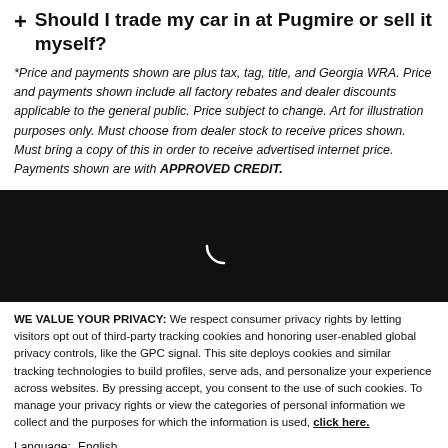+ Should I trade my car in at Pugmire or sell it myself?
*Price and payments shown are plus tax, tag, title, and Georgia WRA. Price and payments shown include all factory rebates and dealer discounts applicable to the general public. Price subject to change. Art for illustration purposes only. Must choose from dealer stock to receive prices shown. Must bring a copy of this in order to receive advertised internet price. Payments shown are with APPROVED CREDIT.
[Figure (illustration): Black banner with a loading spinner (white arc) centered on a dark background]
WE VALUE YOUR PRIVACY: We respect consumer privacy rights by letting visitors opt out of third-party tracking cookies and honoring user-enabled global privacy controls, like the GPC signal. This site deploys cookies and similar tracking technologies to build profiles, serve ads, and personalize your experience across websites. By pressing accept, you consent to the use of such cookies. To manage your privacy rights or view the categories of personal information we collect and the purposes for which the information is used, click here.
Language: English
Accept and Continue | Privacy Policy